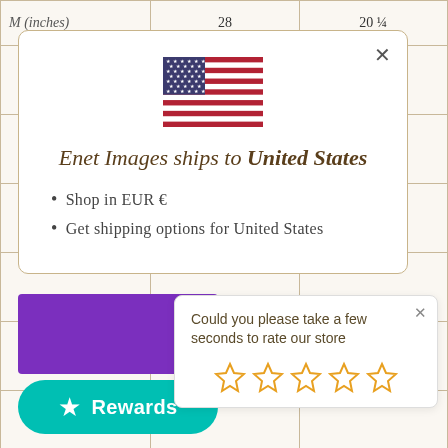| M (inches) | 28 | 20 ¼ |
| --- | --- | --- |
[Figure (screenshot): Modal popup showing US flag with text 'Enet Images ships to United States', bullet points for shopping in EUR and shipping options, with a close button]
Shop in EUR €
Get shipping options for United States
[Figure (screenshot): Purple rectangle button area]
Cha
[Figure (screenshot): Rating popup with text 'Could you please take a few seconds to rate our store' and five empty star icons]
Rewards